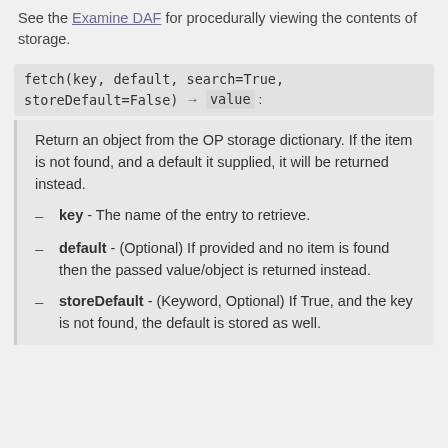See the Examine DAF for procedurally viewing the contents of storage.
fetch(key, default, search=True, storeDefault=False) → value :
Return an object from the OP storage dictionary. If the item is not found, and a default it supplied, it will be returned instead.
key - The name of the entry to retrieve.
default - (Optional) If provided and no item is found then the passed value/object is returned instead.
storeDefault - (Keyword, Optional) If True, and the key is not found, the default is stored as well.